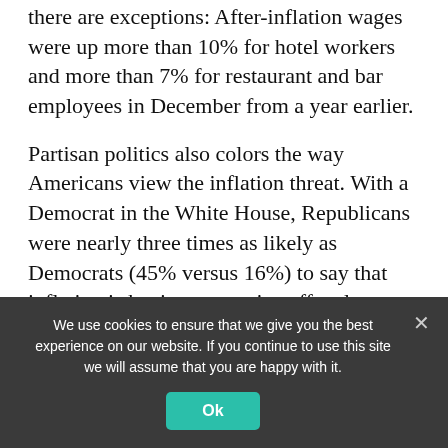there are exceptions: After-inflation wages were up more than 10% for hotel workers and more than 7% for restaurant and bar employees in December from a year earlier.
Partisan politics also colors the way Americans view the inflation threat. With a Democrat in the White House, Republicans were nearly three times as likely as Democrats (45% versus 16%) to say that inflation is having a negative effect last month on their personal finances, according to a University of Michigan survey.
We use cookies to ensure that we give you the best experience on our website. If you continue to use this site we will assume that you are happy with it.